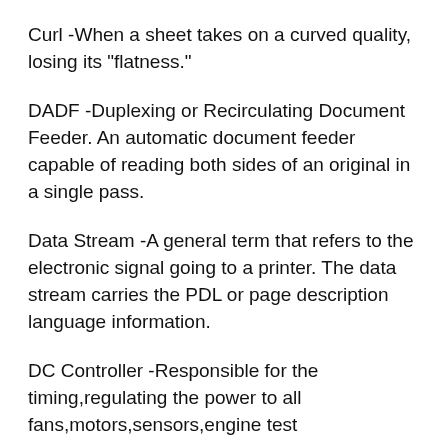Curl -When a sheet takes on a curved quality, losing its "flatness."
DADF -Duplexing or Recirculating Document Feeder. An automatic document feeder capable of reading both sides of an original in a single pass.
Data Stream -A general term that refers to the electronic signal going to a printer. The data stream carries the PDL or page description language information.
DC Controller -Responsible for the timing,regulating the power to all fans,motors,sensors,engine test